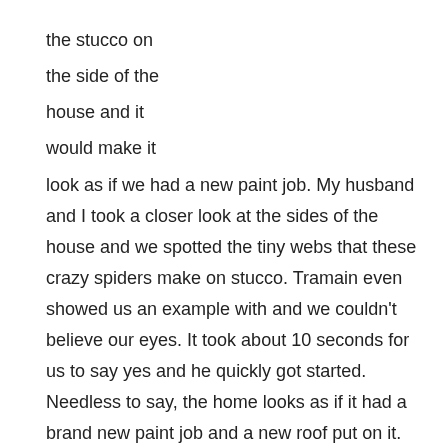the stucco on
the side of the
house and it
would make it
look as if we had a new paint job. My husband and I took a closer look at the sides of the house and we spotted the tiny webs that these crazy spiders make on stucco. Tramain even showed us an example with and we couldn't believe our eyes. It took about 10 seconds for us to say yes and he quickly got started. Needless to say, the home looks as if it had a brand new paint job and a new roof put on it. We were totally blown away as to what the pressure washer could do in a very short time to enhance just about every area of our home. We highly recommend this for anyone that wants to spruce up their home and get great use out of your dollars spent.
If you're ever in Nashville and want to check out some great BBQ restaurants, here is a great read for you.